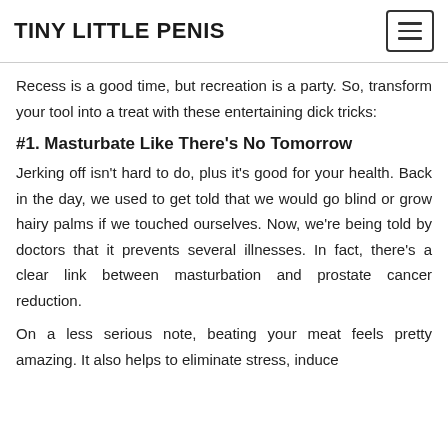TINY LITTLE PENIS
Recess is a good time, but recreation is a party. So, transform your tool into a treat with these entertaining dick tricks:
#1. Masturbate Like There's No Tomorrow
Jerking off isn't hard to do, plus it's good for your health. Back in the day, we used to get told that we would go blind or grow hairy palms if we touched ourselves. Now, we're being told by doctors that it prevents several illnesses. In fact, there's a clear link between masturbation and prostate cancer reduction.
On a less serious note, beating your meat feels pretty amazing. It also helps to eliminate stress, induce